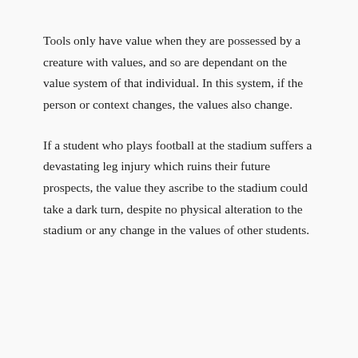Tools only have value when they are possessed by a creature with values, and so are dependant on the value system of that individual. In this system, if the person or context changes, the values also change.
If a student who plays football at the stadium suffers a devastating leg injury which ruins their future prospects, the value they ascribe to the stadium could take a dark turn, despite no physical alteration to the stadium or any change in the values of other students.